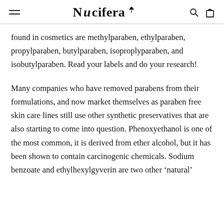Nucifera
found in cosmetics are methylparaben, ethylparaben, propylparaben, butylparaben, isoproplyparaben, and isobutylparaben. Read your labels and do your research!
Many companies who have removed parabens from their formulations, and now market themselves as paraben free skin care lines still use other synthetic preservatives that are also starting to come into question. Phenoxyethanol is one of the most common, it is derived from ether alcohol, but it has been shown to contain carcinogenic chemicals. Sodium benzoate and ethylhexylgyverin are two other ‘natural’